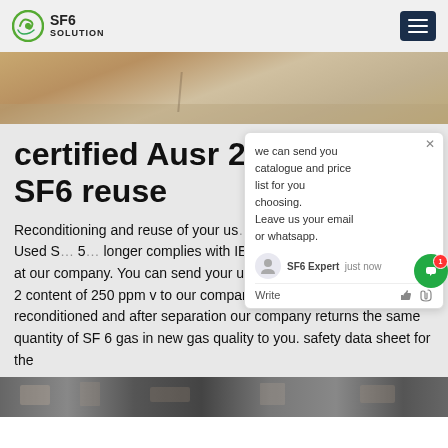SF6 SOLUTION
[Figure (photo): Aerial or ground-level photo of a road or paved surface with sandy/earthy surroundings]
certified Ausr 252 s… SF6 reuse
Reconditioning and reuse of your us… instead of final disposal. Used S… 5… longer complies with IEC 60480, ca… now be treated at our company. You can send your unusable SF 6 gas up to an SO 2 content of 250 ppm v to our company, where the gas is reconditioned and after separation our company returns the same quantity of SF 6 gas in new gas quality to you. safety data sheet for the
[Figure (screenshot): Chat popup widget with message: we can send you catalogue and price list for you choosing. Leave us your email or whatsapp. SF6 Expert just now. Write input area.]
[Figure (photo): Bottom image strip showing industrial or mechanical equipment]